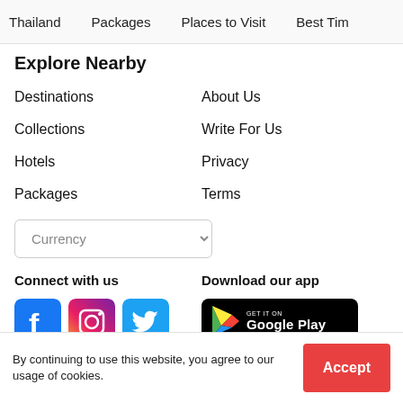Thailand   Packages   Places to Visit   Best Tim
Explore Nearby
Destinations
About Us
Collections
Write For Us
Hotels
Privacy
Packages
Terms
Currency
Connect with us
[Figure (logo): Facebook, Instagram, and Twitter social media icons]
Download our app
[Figure (logo): Google Play store download button]
By continuing to use this website, you agree to our usage of cookies.